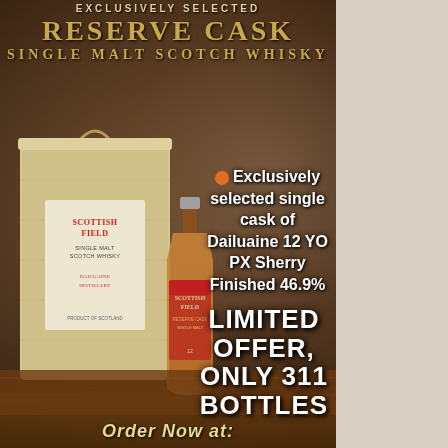[Figure (photo): Advertisement for Scottish Field Reserve Cask Single Malt Scotch Whisky featuring a wooden gift box and whisky bottle on a wooden surface with bokeh background]
RESERVE CASK
EXCLUSIVELY SELECTED
SINGLE MALT SCOTCH WHISKY
Exclusively selected single cask of Dailuaine 12 YO PX Sherry Finished 46.9%
LIMITED OFFER, ONLY 311 BOTTLES
Order Now at: